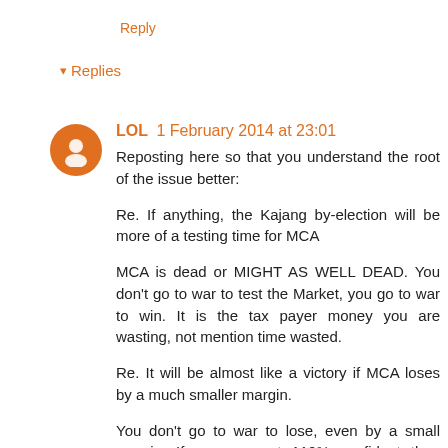Reply
▾ Replies
LOL 1 February 2014 at 23:01
Reposting here so that you understand the root of the issue better:

Re. If anything, the Kajang by-election will be more of a testing time for MCA

MCA is dead or MIGHT AS WELL DEAD. You don't go to war to test the Market, you go to war to win. It is the tax payer money you are wasting, not mention time wasted.

Re. It will be almost like a victory if MCA loses by a much smaller margin.

You don't go to war to lose, even by a small margin. If you are not 110% confident then better back off. Latest statistics shows that 49% voters